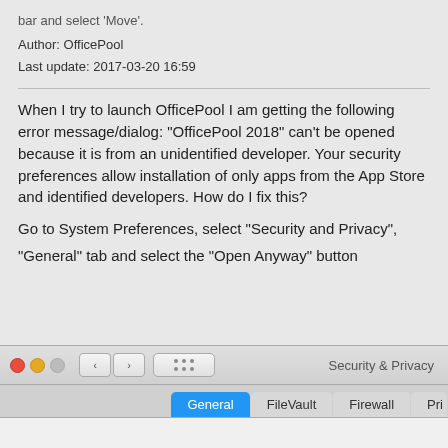bar and select 'Move'.
Author: OfficePool
Last update: 2017-03-20 16:59
When I try to launch OfficePool I am getting the following error message/dialog: “OfficePool 2018” can’t be opened because it is from an unidentified developer. Your security preferences allow installation of only apps from the App Store and identified developers. How do I fix this?
Go to System Preferences, select "Security and Privacy", "General" tab and select the "Open Anyway" button
[Figure (screenshot): macOS Security & Privacy window titlebar with traffic light buttons (red, yellow, gray), back/forward nav buttons, grid button, and title 'Security & Privacy', with tabs: General (selected/blue), FileVault, Firewall, Pri...]